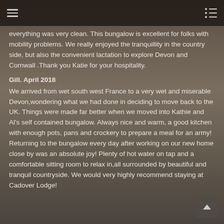everything was very clean. This bungalow is excellent for folks with mobility problems. We really enjoyed the tranquillity in the country side, but also the convenient lactation to explore Devon and Cornwall .Thank you Katie for your hospitality.
Gill. April 2018
We arrived from wet south west France to a very wet and miserable Devon,wondering what we had done in deciding to move back to the UK. Things were made far better when we moved into Kathie and Al's self contained bungalow. Always nice and warm, a good kitchen with enough pots, pans and crockery to prepare a meal for an army! Returning to the bungalow every day after working on our new home close by was an absolute joy! Plenty of hot water on tap and a comfortable sitting room to relax in,all surrounded by beautiful and tranquil countryside. We would very highly recommend staying at Cadover Lodge!